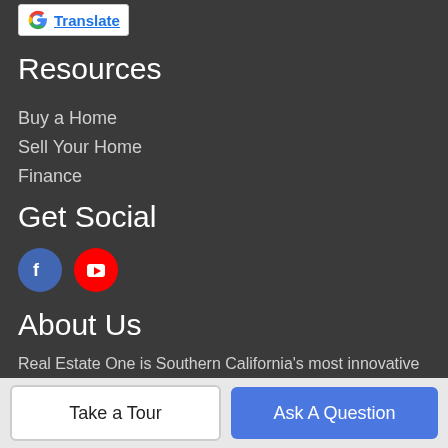[Figure (logo): Google Translate button with G logo and 'Translate' link]
Resources
Buy a Home
Sell Your Home
Finance
Get Social
[Figure (illustration): Facebook and YouTube social media icon circles]
About Us
Real Estate One is Southern California's most innovative real estate team.
Ivan Navarro | CA DRE 01177326
Maria Navarro | CA DRE 1936556
Take a Tour
Ask A Question